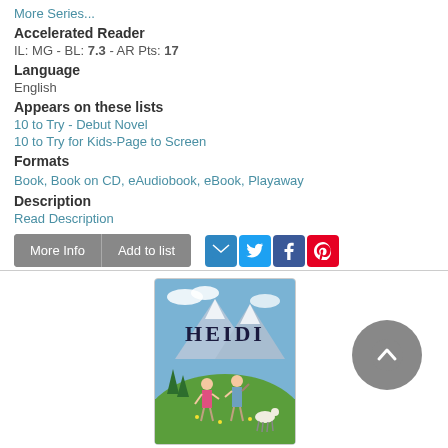More Series...
Accelerated Reader
IL: MG - BL: 7.3 - AR Pts: 17
Language
English
Appears on these lists
10 to Try - Debut Novel
10 to Try for Kids-Page to Screen
Formats
Book, Book on CD, eAudiobook, eBook, Playaway
Description
Read Description
[Figure (illustration): Book cover of Heidi showing two children on a mountain meadow with Alps in background]